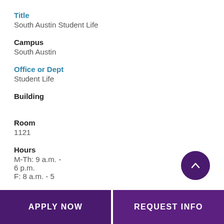Title
South Austin Student Life
Campus
South Austin
Office or Dept
Student Life
Building
Room
1121
Hours
M-Th: 9 a.m. - 6 p.m.
F: 8 a.m. - 5
APPLY NOW | REQUEST INFO